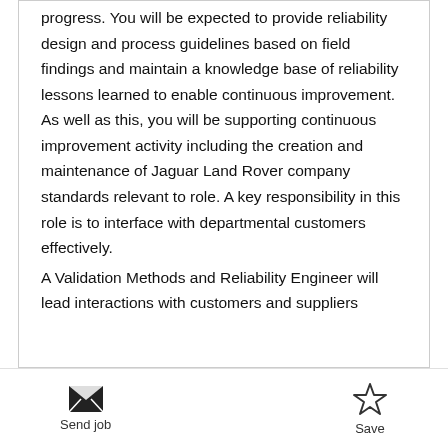progress. You will be expected to provide reliability design and process guidelines based on field findings and maintain a knowledge base of reliability lessons learned to enable continuous improvement. As well as this, you will be supporting continuous improvement activity including the creation and maintenance of Jaguar Land Rover company standards relevant to role. A key responsibility in this role is to interface with departmental customers effectively.

A Validation Methods and Reliability Engineer will lead interactions with customers and suppliers
[Figure (other): Footer bar with Send job (envelope icon) and Save (star icon) buttons]